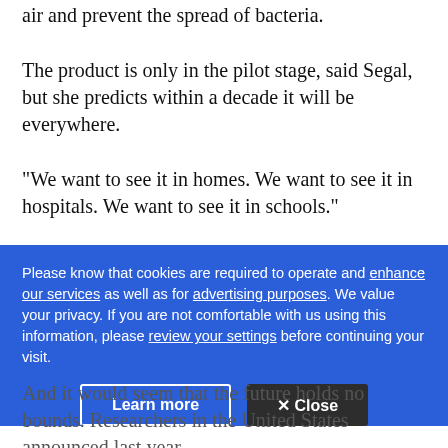air and prevent the spread of bacteria.
The product is only in the pilot stage, said Segal, but she predicts within a decade it will be everywhere.
"We want to see it in homes. We want to see it in hospitals. We want to see it in schools."
Nanotechnology, she suggests, will change life for everyone. "It's like when the internet came out 10 years ago, and nobody knew what it was. Today everybody...
Please know that cookies are required to operate and enhance our services as well as for advertising purposes. We value your privacy. If you are not comfortable with us using this information, please review your settings before continuing your visit.
And it would seem that the future holds no bounds. Researchers in the United States announced last year...